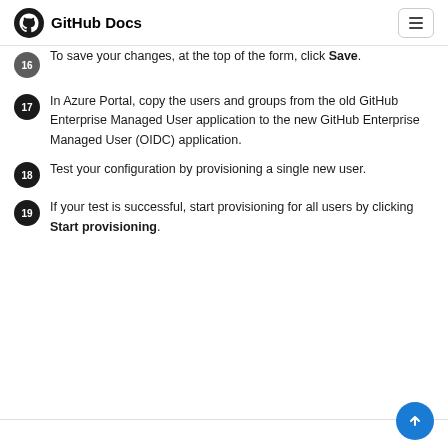GitHub Docs
To save your changes, at the top of the form, click Save.
In Azure Portal, copy the users and groups from the old GitHub Enterprise Managed User application to the new GitHub Enterprise Managed User (OIDC) application.
Test your configuration by provisioning a single new user.
If your test is successful, start provisioning for all users by clicking Start provisioning.